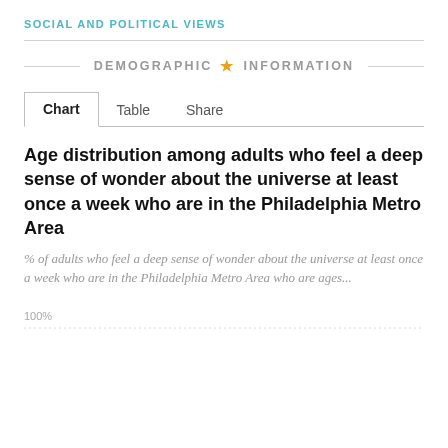SOCIAL AND POLITICAL VIEWS
DEMOGRAPHIC ★ INFORMATION
Chart   Table   Share
Age distribution among adults who feel a deep sense of wonder about the universe at least once a week who are in the Philadelphia Metro Area
% of adults who feel a deep sense of wonder about the universe at least once a week who are in the Philadelphia Metro Area who are ages...
[Figure (bar-chart): Partial bar chart shown, y-axis label 100% visible at bottom, chart content cut off]